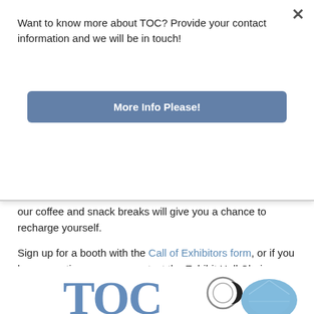Want to know more about TOC? Provide your contact information and we will be in touch!
More Info Please!
our coffee and snack breaks will give you a chance to recharge yourself.
Sign up for a booth with the Call of Exhibitors form, or if you have questions you can contact the Exhibit Hall Chairs: Chris King or DeLoran Lyles. Don't miss your chance to get your first choice of booth space in the always-popular Exhibit Hall!
[Figure (logo): TOC logo with decorative circle/diamond elements at the bottom of the page]